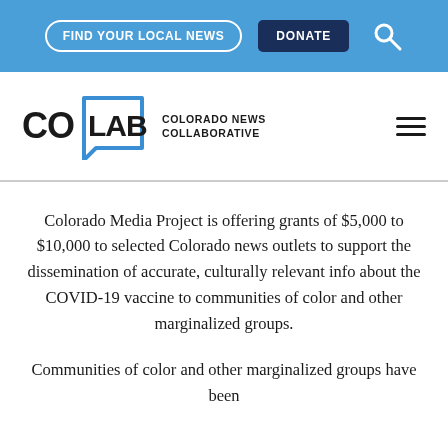FIND YOUR LOCAL NEWS | DONATE | [search icon]
[Figure (logo): CoLab Colorado News Collaborative logo with blue bracket/chat bubble shape around LAB text, CO in black, and COLORADO NEWS COLLABORATIVE text to the right. Hamburger menu icon on right side.]
Colorado Media Project is offering grants of $5,000 to $10,000 to selected Colorado news outlets to support the dissemination of accurate, culturally relevant info about the COVID-19 vaccine to communities of color and other marginalized groups.
Communities of color and other marginalized groups have been